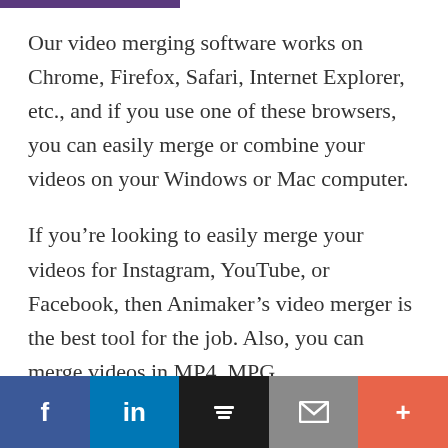Our video merging software works on Chrome, Firefox, Safari, Internet Explorer, etc., and if you use one of these browsers, you can easily merge or combine your videos on your Windows or Mac computer.
If you're looking to easily merge your videos for Instagram, YouTube, or Facebook, then Animaker's video merger is the best tool for the job. Also, you can merge videos in MP4, MPG,
Facebook | LinkedIn | Buffer | Email | More